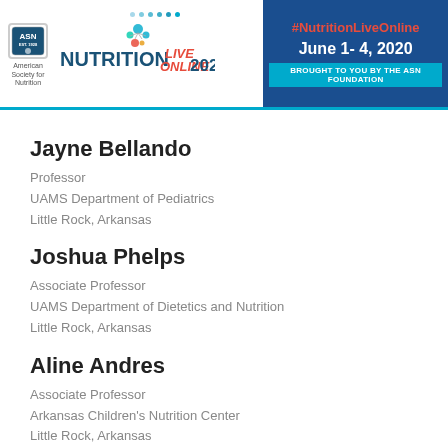[Figure (logo): Nutrition Live Online 2020 conference banner with ASN logo, event hashtag #NutritionLiveOnline, dates June 1-4, 2020, and 'Brought to you by the ASN Foundation' tagline]
Jayne Bellando
Professor
UAMS Department of Pediatrics
Little Rock, Arkansas
Joshua Phelps
Associate Professor
UAMS Department of Dietetics and Nutrition
Little Rock, Arkansas
Aline Andres
Associate Professor
Arkansas Children's Nutrition Center
Little Rock, Arkansas